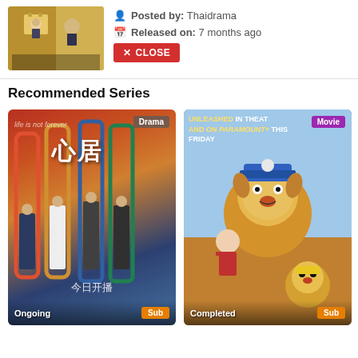[Figure (photo): Thumbnail image of a Thai drama with characters in golden/yellow themed background]
Posted by: Thaidrama
Released on: 7 months ago
✕ CLOSE
Recommended Series
[Figure (photo): Chinese drama poster titled 心居 with four characters standing in colorful doorframes, labeled Drama, Ongoing, Sub]
[Figure (photo): PAW Patrol movie poster with animated dog and puppy characters, labeled Movie, Completed, Sub]